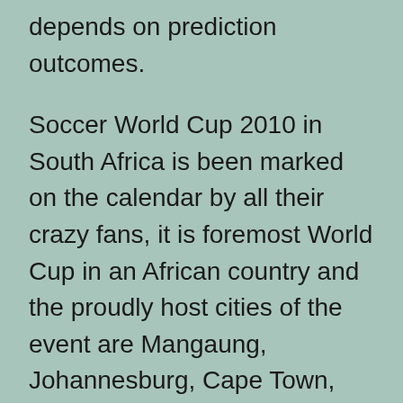depends on prediction outcomes.
Soccer World Cup 2010 in South Africa is been marked on the calendar by all their crazy fans, it is foremost World Cup in an African country and the proudly host cities of the event are Mangaung, Johannesburg, Cape Town, Durban, Pretoria and more. Soccer betting lets you participate in the game by providing a stake in outcome, you can give assistance to your favorite team and along with it you are able to generate a huge amount of money. You can make use of the trend concept in Soccer Betting, it is safe to bet on the strong team and